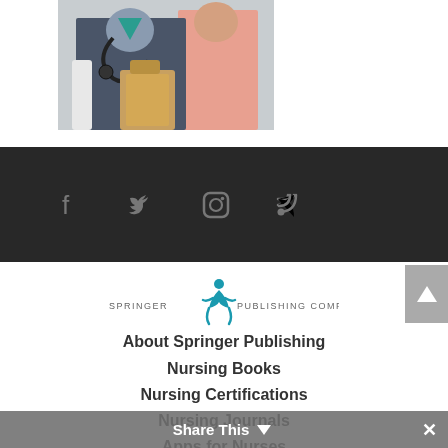[Figure (photo): Two medical professionals (nurses), one in dark scrubs with stethoscope holding a clipboard/folder, another in salmon/pink top, cropped view showing torsos and hands]
[Figure (other): Dark footer social media icons bar with Facebook, Twitter, Instagram, and RSS feed icons in grey on dark background]
[Figure (logo): Springer Publishing Company logo with teal figure icon and text 'SPRINGER PUBLISHING COMPANY']
About Springer Publishing
Nursing Books
Nursing Certifications
Nursing Journals
Apps for Nurses
Share This